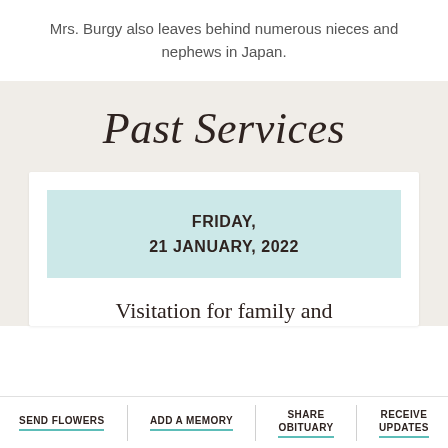Mrs. Burgy also leaves behind numerous nieces and nephews in Japan.
Past Services
FRIDAY, 21 JANUARY, 2022
Visitation for family and
SEND FLOWERS | ADD A MEMORY | SHARE OBITUARY | RECEIVE UPDATES